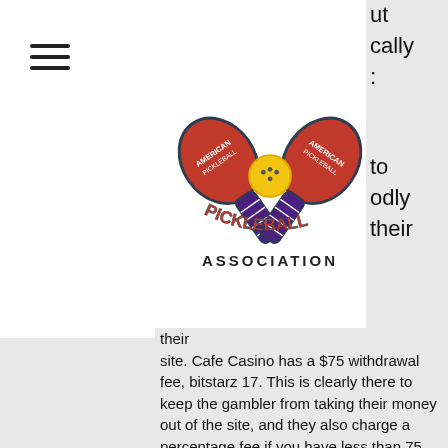[Figure (logo): American Pickleball Association logo with two crossed red paddles and a yellow ball, with text 'AMERICAN PICKLEBALL ASSOCIATION']
site. Cafe Casino has a $75 withdrawal fee, bitstarz 17. This is clearly there to keep the gambler from taking their money out of the site, and they also charge a percentage fee if you have less than 75 dollars in your account.
Just as the name implies, bitstarz is deeply intertwined with cryptocurrencies. With that, you'll have no issues making a bitcoin deposit and gambling with.
Bitstarz is one of the famous online casinos and it gained popularity because of its huge variety of games. Bitstarz casino is legit and safe,. Navigation at bitstarz is intuitive and pleasant. From the